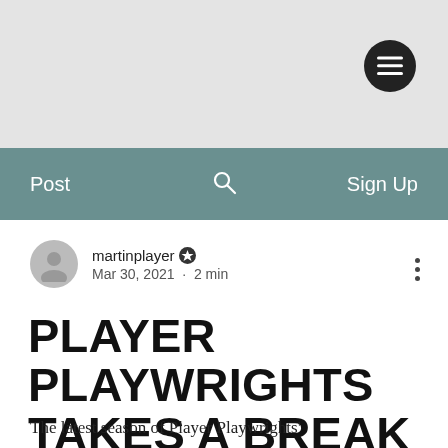[Figure (screenshot): Website header area with grey/white background and circular dark hamburger menu button in top right]
Post   🔍   Sign Up
martinplayer ✦  Mar 30, 2021 · 2 min
PLAYER PLAYWRIGHTS TAKES A BREAK FOR EASTER
The latest season of Player Playwrights'